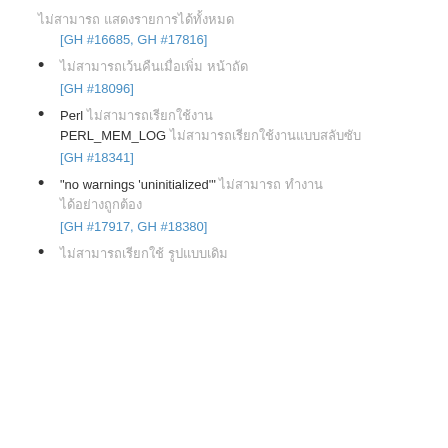[Thai text] [Thai text]
[GH #16685, GH #17816]
[Thai text bullet item]
[GH #18096]
Perl [Thai text] PERL_MEM_LOG [Thai text]
[GH #18341]
"no warnings 'uninitialized'" [Thai text]
[GH #17917, GH #18380]
[Thai text]